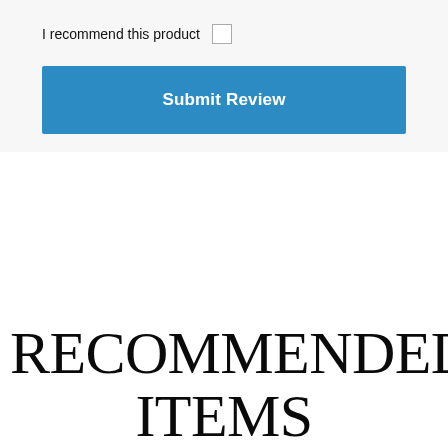I recommend this product
Submit Review
RECOMMENDED ITEMS